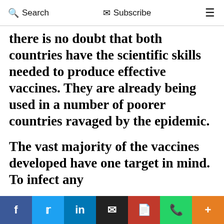Search  Subscribe  ≡
there is no doubt that both countries have the scientific skills needed to produce effective vaccines. They are already being used in a number of poorer countries ravaged by the epidemic.
The vast majority of the vaccines developed have one target in mind. To infect any